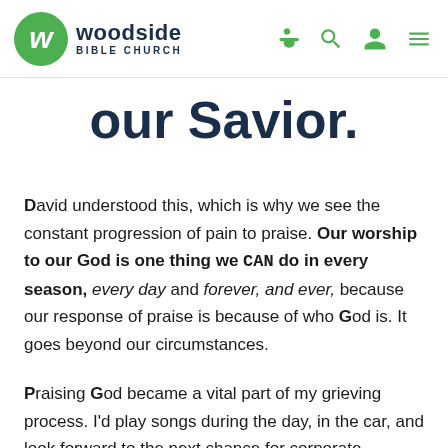Woodside Bible Church
our Savior.
David understood this, which is why we see the constant progression of pain to praise. Our worship to our God is one thing we CAN do in every season, every day and forever, and ever, because our response of praise is because of who God is. It goes beyond our circumstances.
Praising God became a vital part of my grieving process. I'd play songs during the day, in the car, and look forward to the next chance for corporate worship on Sunday. It wasn't so much that worship was an escape